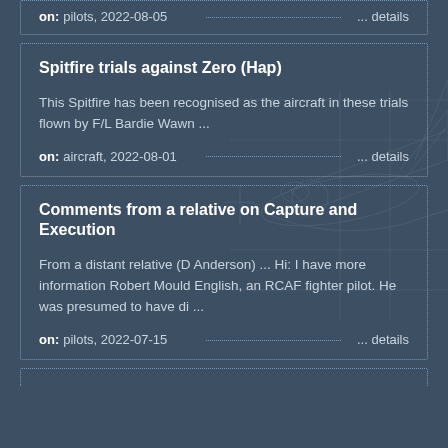on: pilots, 2022-08-05 ... details
Spitfire trials against Zero (Hap)
This Spitfire has been recognised as the aircraft in these trials flown by F/L Bardie Wawn ...
on: aircraft, 2022-08-01 ... details
Comments from a relative on Capture and Execution
From a distant relative (D Anderson) ... Hi: I have more information Robert Mould English, an RCAF fighter pilot. He was presumed to have di ...
on: pilots, 2022-07-15 ... details